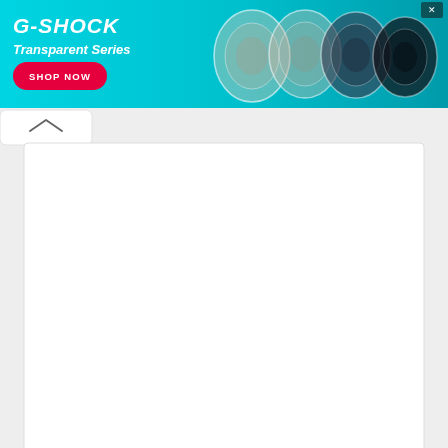[Figure (screenshot): G-SHOCK Transparent Series advertisement banner with teal background, showing four transparent G-SHOCK watches and a 'SHOP NOW' button in red]
[Figure (screenshot): Web page UI showing a collapse/expand tab with chevron icon, a large empty textarea with resize handle, a Name label with empty input field, a scroll-to-top button (green with up arrow), and an Email label with empty input field at the bottom]